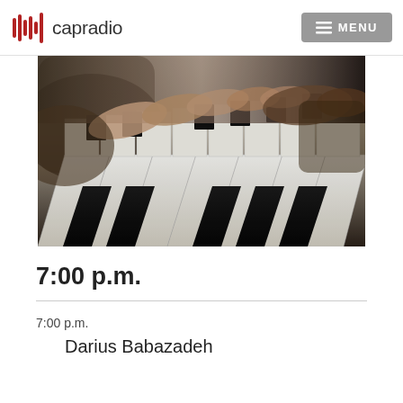capradio  MENU
[Figure (photo): Close-up photo of two hands playing piano keys, showing black and white keys in the foreground with motion blur]
7:00 p.m.
7:00 p.m.
Darius Babazadeh